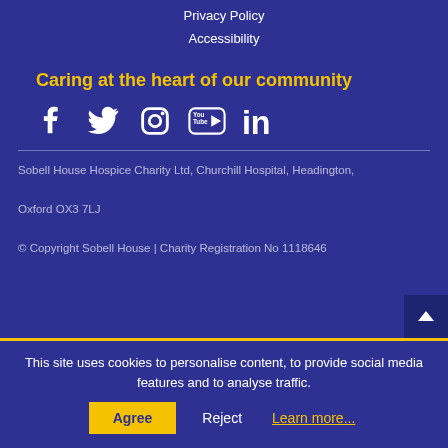Privacy Policy
Accessibility
Caring at the heart of our community
[Figure (other): Social media icons: Facebook, Twitter, Instagram, YouTube, LinkedIn]
Sobell House Hospice Charity Ltd, Churchill Hospital, Headington, Oxford OX3 7LJ
© Copyright Sobell House | Charity Registration No 1118646
This site uses cookies to personalise content, to provide social media features and to analyse traffic.
Agree  Reject  Learn more...